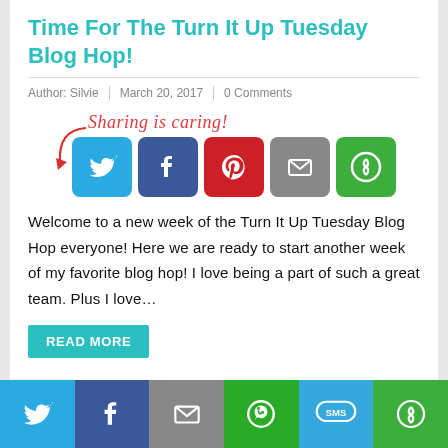Time For The Turn It Up Tuesday Blog Hop!
Author: Silvie  |  March 20, 2017  |  0 Comments
[Figure (infographic): Sharing is caring! text with social sharing icons for Twitter, Facebook, Pinterest, Email, and ShareThis]
Welcome to a new week of the Turn It Up Tuesday Blog Hop everyone! Here we are ready to start another week of my favorite blog hop! I love being a part of such a great team. Plus I love…
READ MORE
Like this:
Loading...
[Figure (infographic): Bottom social share bar with Twitter, Facebook, Email, WhatsApp, SMS, and ShareThis icons]